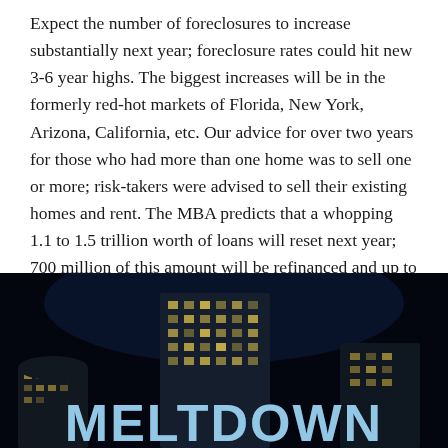Expect the number of foreclosures to increase substantially next year; foreclosure rates could hit new 3-6 year highs. The biggest increases will be in the formerly red-hot markets of Florida, New York, Arizona, California, etc. Our advice for over two years for those who had more than one home was to sell one or more; risk-takers were advised to sell their existing homes and rent. The MBA predicts that a whopping 1.1 to 1.5 trillion worth of loans will reset next year; 700 million of this amount will be refinanced and up to 800 million will adjust at less affordable rates. The fireworks are going to begin sometime next year.
[Figure (photo): Dark image of city skyscrapers at night with large text 'MELTDOWN' overlaid at the bottom in bold light blue/white letters]